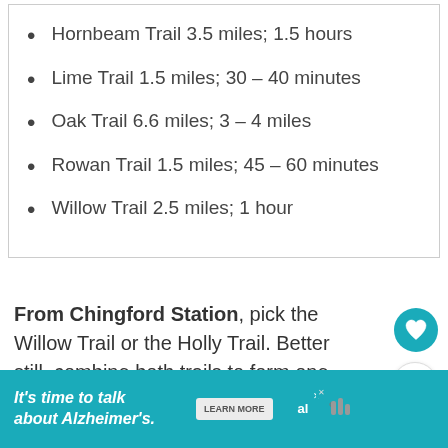Hornbeam Trail 3.5 miles; 1.5 hours
Lime Trail 1.5 miles; 30 – 40 minutes
Oak Trail 6.6 miles; 3 – 4 miles
Rowan Trail 1.5 miles; 45 – 60 minutes
Willow Trail 2.5 miles; 1 hour
From Chingford Station, pick the Willow Trail or the Holly Trail. Better still, combine both trails to form one great hike.
[Figure (infographic): Teal circular heart/favourite button icon]
[Figure (infographic): White circular share button icon]
[Figure (infographic): WHAT'S NEXT panel with Tower Bridge thumbnail and text '33 Easy Day Trips From...']
[Figure (infographic): Advertisement banner: It's time to talk about Alzheimer's. LEARN MORE button. Alzheimer's association logo. Close X button. Mute icon.]